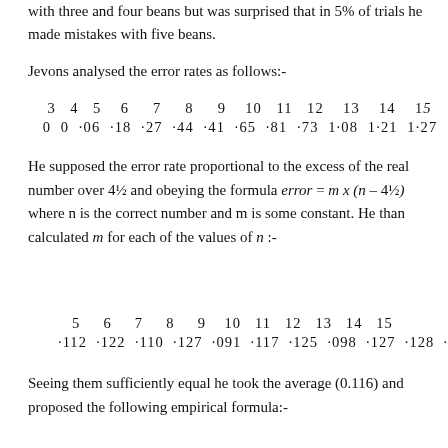with three and four beans but was surprised that in 5% of trials he made mistakes with five beans.
Jevons analysed the error rates as follows:-
| 3 | 4 | 5 | 6 | 7 | 8 | 9 | 10 | 11 | 12 | 13 | 14 | 15 |
| --- | --- | --- | --- | --- | --- | --- | --- | --- | --- | --- | --- | --- |
| 0 | 0 | ·06 | ·18 | ·27 | ·44 | ·41 | ·65 | ·81 | ·73 | 1·08 | 1·21 | 1·27 |
He supposed the error rate proportional to the excess of the real number over 4½ and obeying the formula error = m x (n – 4½) where n is the correct number and m is some constant. He than calculated m for each of the values of n :-
| 5 | 6 | 7 | 8 | 9 | 10 | 11 | 12 | 13 | 14 | 15 |
| --- | --- | --- | --- | --- | --- | --- | --- | --- | --- | --- |
| ·112 | ·122 | ·110 | ·127 | ·091 | ·117 | ·125 | ·098 | ·127 | ·128 | ·121 |
Seeing them sufficiently equal he took the average (0.116) and proposed the following empirical formula:-